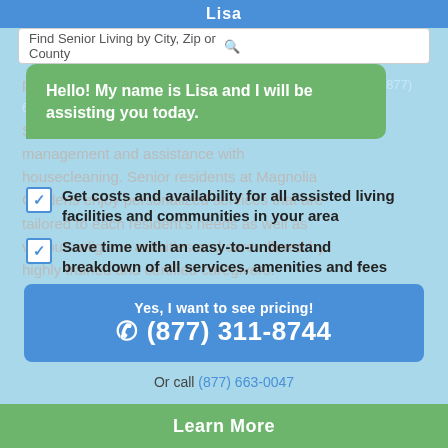Lisa
Find Senior Living by City, Zip or County
Hello! My name is Lisa and I will be assisting you today.
personal care in Venice, Florida. Magnolia Gardens ... management and assistance with housecleaning. Senior residents at Magnolia Gardens enjoy personalized services that are tailored to each resident's needs as well as various religious activities and care offered by highly trained and certified caregivers.
Get costs and availability for all assisted living facilities and communities in your area
Save time with an easy-to-understand breakdown of all services, amenities and fees
Find the assisted living facility or community that is perfect for you
Yes, I want to see pricing! (877) 311-8744
Or call (877) 663-0047
Learn More